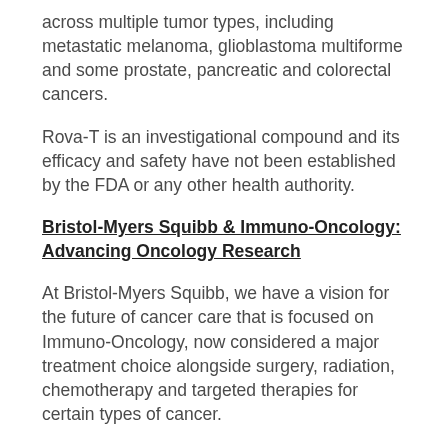across multiple tumor types, including metastatic melanoma, glioblastoma multiforme and some prostate, pancreatic and colorectal cancers.
Rova-T is an investigational compound and its efficacy and safety have not been established by the FDA or any other health authority.
Bristol-Myers Squibb & Immuno-Oncology: Advancing Oncology Research
At Bristol-Myers Squibb, we have a vision for the future of cancer care that is focused on Immuno-Oncology, now considered a major treatment choice alongside surgery, radiation, chemotherapy and targeted therapies for certain types of cancer.
We have a comprehensive clinical portfolio of